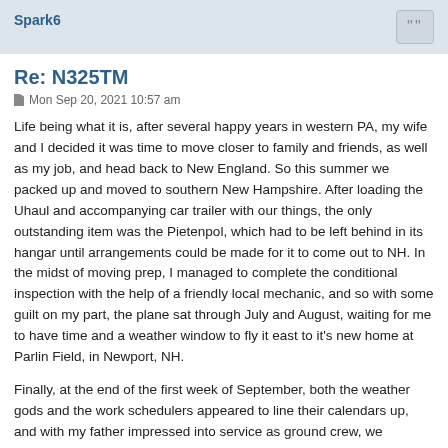Spark6
Re: N325TM
Mon Sep 20, 2021 10:57 am
Life being what it is, after several happy years in western PA, my wife and I decided it was time to move closer to family and friends, as well as my job, and head back to New England. So this summer we packed up and moved to southern New Hampshire. After loading the Uhaul and accompanying car trailer with our things, the only outstanding item was the Pietenpol, which had to be left behind in its hangar until arrangements could be made for it to come out to NH. In the midst of moving prep, I managed to complete the conditional inspection with the help of a friendly local mechanic, and so with some guilt on my part, the plane sat through July and August, waiting for me to have time and a weather window to fly it east to it's new home at Parlin Field, in Newport, NH.
Finally, at the end of the first week of September, both the weather gods and the work schedulers appeared to line their calendars up, and with my father impressed into service as ground crew, we cannon-balled through the night to get out to the plane. The weather picture looked solid, with a large high pressure system dominating the region, with mostly clear skies and light winds out of the west in the forecast. Naturally, packing up tools and the various items needed meant that we also...